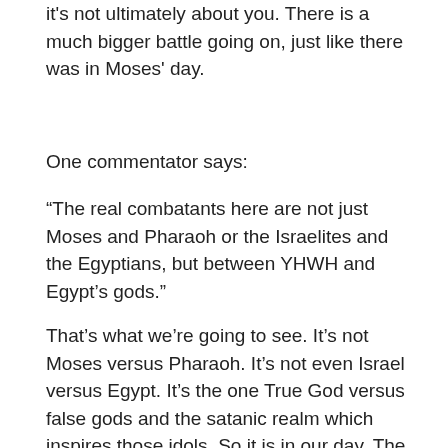it's not ultimately about you. There is a much bigger battle going on, just like there was in Moses' day.
One commentator says:
“The real combatants here are not just Moses and Pharaoh or the Israelites and the Egyptians, but between YHWH and Egypt’s gods.”
That’s what we’re going to see. It’s not Moses versus Pharaoh. It’s not even Israel versus Egypt. It’s the one True God versus false gods and the satanic realm which inspires those idols. So it is in our day. The battle is not ultimately against flesh and blood. You should not be surprised, Peter